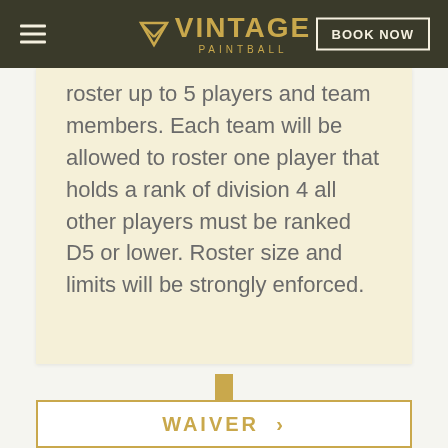VINTAGE PAINTBALL | BOOK NOW
roster up to 5 players and team members. Each team will be allowed to roster one player that holds a rank of division 4 all other players must be ranked D5 or lower. Roster size and limits will be strongly enforced.
[Figure (illustration): Gold downward-pointing arrow]
WAIVER >